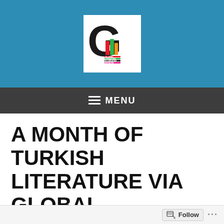[Figure (logo): Global Literature in Libraries Initiative logo — large black letter G with colorful stacked books (red, green, orange) and text 'GLOBAL LITERATURE IN LIBRARIES INITIATIVE' in small colorful text]
≡ MENU
A MONTH OF TURKISH LITERATURE VIA GLOBAL LITERATURE IN LIBRARIES INITIATIVE